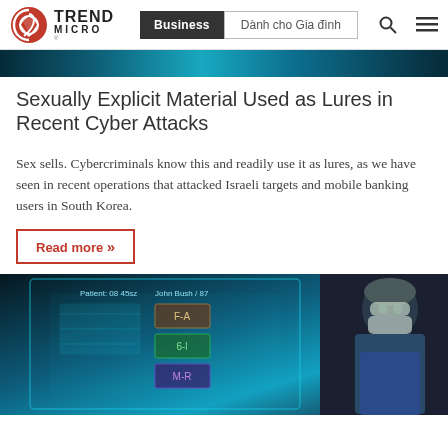Trend Micro | Business | Dành cho Gia đình
[Figure (photo): Dark teal/cyan abstract background image strip at top of article]
Sexually Explicit Material Used as Lures in Recent Cyber Attacks
Sex sells. Cybercriminals know this and readily use it as lures, as we have seen in recent operations that attacked Israeli targets and mobile banking users in South Korea.
Read more »
[Figure (photo): A surgeon or medical professional wearing blue scrubs, surgical cap, and protective eyewear, touching a holographic transparent digital interface screen displaying patient data and medical information]